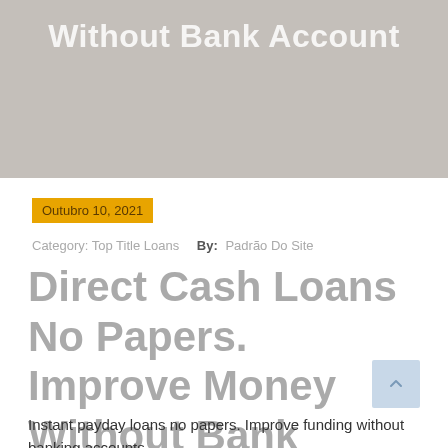Without Bank Account
Outubro 10, 2021
Category: Top Title Loans   By: Padrão Do Site
Direct Cash Loans No Papers. Improve Money Without Bank Account
Instant payday loans no papers. Improve funding without banking accounts